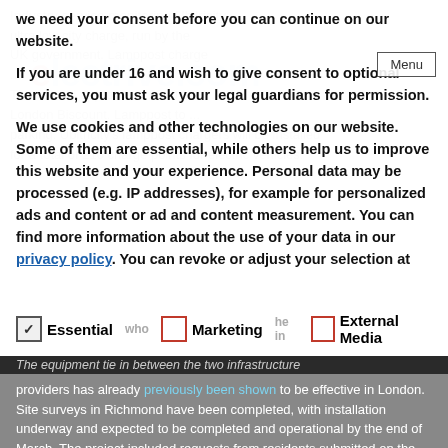we need your consent before you can continue on our website.
If you are under 16 and wish to give consent to optional services, you must ask your legal guardians for permission.
We use cookies and other technologies on our website. Some of them are essential, while others help us to improve this website and your experience. Personal data may be processed (e.g. IP addresses), for example for personalized ads and content or ad and content measurement. You can find more information about the use of your data in our privacy policy. You can revoke or adjust your selection at
Essential   Marketing   External Media
The equipment tie in between the two infrastructure providers has already previously been shown to be effective in London. Site surveys in Richmond have been completed, with installation underway and expected to be completed and operational by the end of March. The project included requests from residents submitted on the council's website, which led to the identification of